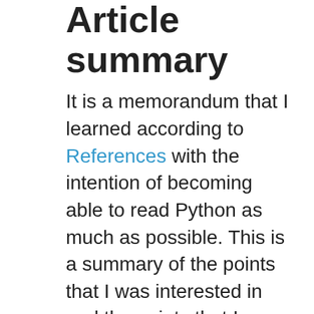Article summary
It is a memorandum that I learned according to References with the intention of becoming able to read Python as much as possible. This is a summary of the points that I was interested in and the points that I found useful compared to Java. * This is a fairly basic content. </ strong>
Arithmetic operator
The four arithmetic